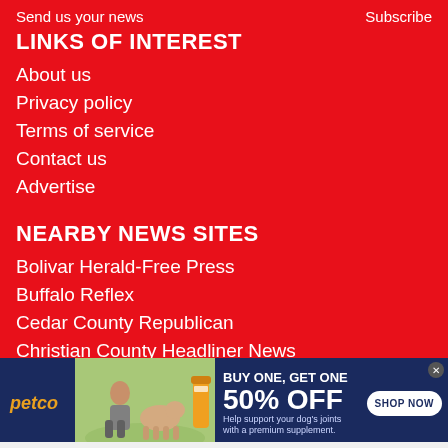Send us your news    Subscribe
LINKS OF INTEREST
About us
Privacy policy
Terms of service
Contact us
Advertise
NEARBY NEWS SITES
Bolivar Herald-Free Press
Buffalo Reflex
Cedar County Republican
Christian County Headliner News
Harrison Daily Times
[Figure (infographic): Petco advertisement banner: BUY ONE, GET ONE 50% OFF. Help support your dog's joints with a premium supplement. SHOP NOW button. Shows woman with dog and supplement product.]